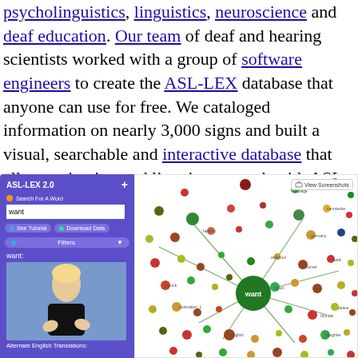psycholinguistics, linguistics, neuroscience and deaf education. Our team of deaf and hearing scientists worked with a group of software engineers to create the ASL-LEX database that anyone can use for free. We cataloged information on nearly 3,000 signs and built a visual, searchable and interactive database that allows scientists and linguists to work with ASL in entirely new ways.
[Figure (screenshot): Screenshot of the ASL-LEX 2.0 interactive database interface showing: a purple sidebar panel with search field containing 'want', tutorial and download buttons, filters option, the word 'want:' with a video of a person signing, and 'Alternate English Translations:' text at bottom. The right portion shows a network graph visualization with colored dots/nodes representing signs, connected by green lines radiating from a central large green node labeled 'want'.]